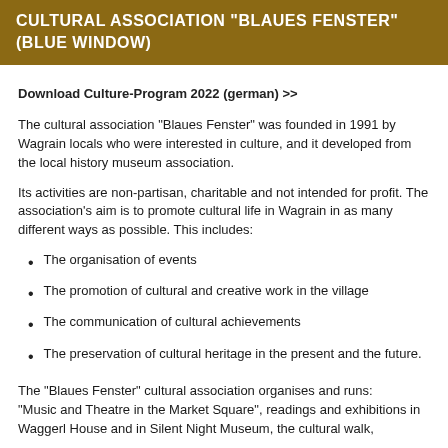CULTURAL ASSOCIATION "BLAUES FENSTER" (BLUE WINDOW)
Download Culture-Program 2022 (german) >>
The cultural association “Blaues Fenster” was founded in 1991 by Wagrain locals who were interested in culture, and it developed from the local history museum association.
Its activities are non-partisan, charitable and not intended for profit. The association’s aim is to promote cultural life in Wagrain in as many different ways as possible. This includes:
The organisation of events
The promotion of cultural and creative work in the village
The communication of cultural achievements
The preservation of cultural heritage in the present and the future.
The “Blaues Fenster” cultural association organises and runs: “Music and Theatre in the Market Square”, readings and exhibitions in Waggerl House and in Silent Night Museum, the cultural walk,